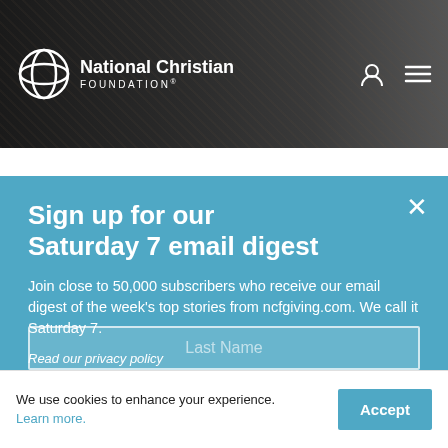[Figure (logo): National Christian Foundation logo and navigation header with dark background photo]
Sign up for our Saturday 7 email digest
Join close to 50,000 subscribers who receive our email digest of the week's top stories from ncfgiving.com. We call it Saturday 7.
Read our privacy policy
First Name
Last Name
We use cookies to enhance your experience. Learn more.